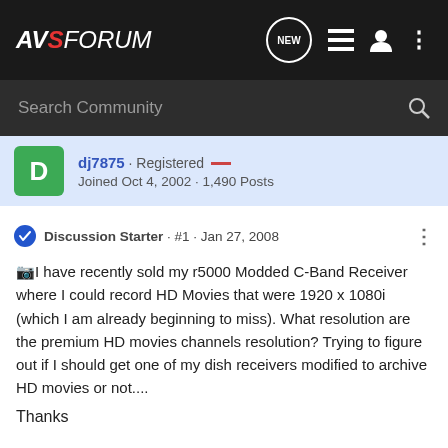AVSForum
Search Community
dj7875 · Registered
Joined Oct 4, 2002 · 1,490 Posts
Discussion Starter · #1 · Jan 27, 2008
I have recently sold my r5000 Modded C-Band Receiver where I could record HD Movies that were 1920 x 1080i (which I am already beginning to miss). What resolution are the premium HD movies channels resolution? Trying to figure out if I should get one of my dish receivers modified to archive HD movies or not....
Thanks